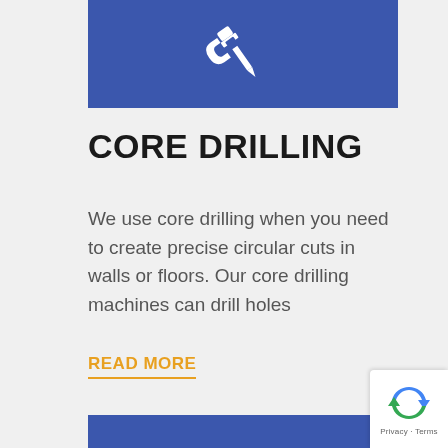[Figure (illustration): Blue rectangle with white icon of a core drilling machine/tool (drill with circular bit) centered in white on blue background]
CORE DRILLING
We use core drilling when you need to create precise circular cuts in walls or floors. Our core drilling machines can drill holes
READ MORE
[Figure (illustration): Bottom portion of a blue rectangle, partially visible at bottom of page]
[Figure (other): Google reCAPTCHA badge showing reCAPTCHA logo with Privacy and Terms links]